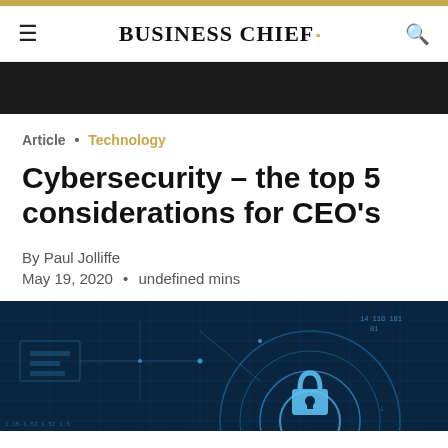BUSINESS CHIEF°
Article • Technology
Cybersecurity – the top 5 considerations for CEO's
By Paul Jolliffe
May 19, 2020 • undefined mins
[Figure (photo): Cybersecurity digital illustration showing a padlock with circuit board patterns and binary code on a dark blue background]